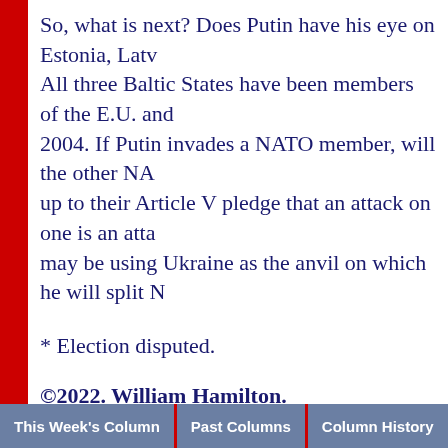So, what is next? Does Putin have his eye on Estonia, Latvia... All three Baltic States have been members of the E.U. and... 2004. If Putin invades a NATO member, will the other NA... up to their Article V pledge that an attack on one is an atta... may be using Ukraine as the anvil on which he will split N...
* Election disputed.
©2022. William Hamilton.
©1999-2022. American Press Syndicate.
Dr. Hamilton can be contacted at:
P.O. Box 2001
Granby, CO 80446
Email: william@central-view.com
This Week's Column | Past Columns | Column History | Su...